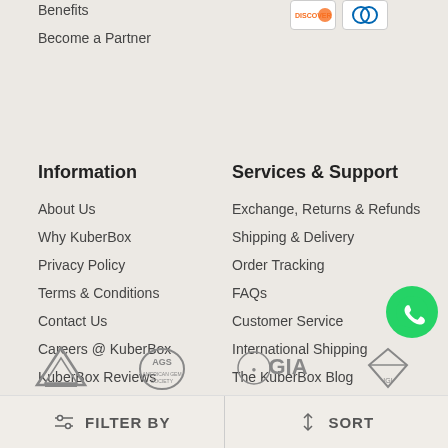Benefits
Become a Partner
[Figure (logo): Discover and Diners Club payment card icons]
Information
About Us
Why KuberBox
Privacy Policy
Terms & Conditions
Contact Us
Careers @ KuberBox
KuberBox Reviews
Collab With Us
Services & Support
Exchange, Returns & Refunds
Shipping & Delivery
Order Tracking
FAQs
Customer Service
International Shipping
The KuberBox Blog
[Figure (logo): WhatsApp contact button (green circle with phone icon)]
[Figure (logo): Partner certification logos: triangle logo, AGS logo, GIA logo, diamond logo]
FILTER BY
SORT